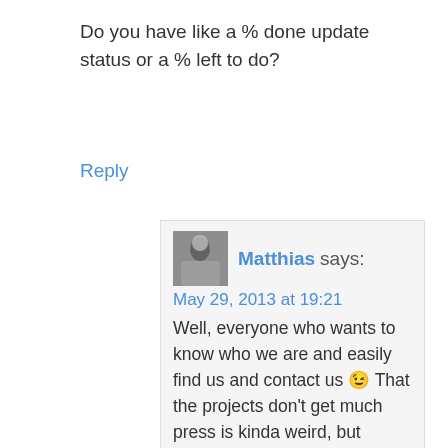Do you have like a % done update status or a % left to do?
Reply
Matthias says:
May 29, 2013 at 19:21
Well, everyone who wants to know who we are and easily find us and contact us 😉 That the projects don't get much press is kinda weird, but Listaller got a lot of attention due to the stuff Ubuntu does, AppStream is improving too and got some press, and PackageKit is a mature project, which doesn't need that much press anymore. But indeed, I probably need to blog more about this...
In terms of % done: AppStream is probably 40% done, but that varies depending on the distribution. Listaller is, depending how you look at it, 70% or